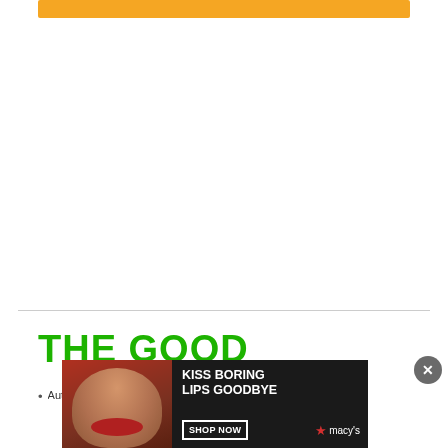[Figure (other): Orange horizontal bar at top of page]
THE GOOD
Automatically pairs with a variety of standard...
[Figure (other): Advertisement banner: Kiss Boring Lips Goodbye - Shop Now - Macy's, with woman's face showing red lips]